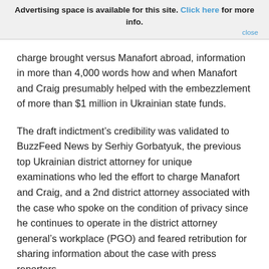Advertising space is available for this site. Click here for more info. close
charge brought versus Manafort abroad, information in more than 4,000 words how and when Manafort and Craig presumably helped with the embezzlement of more than $1 million in Ukrainian state funds.
The draft indictment’s credibility was validated to BuzzFeed News by Serhiy Gorbatyuk, the previous top Ukrainian district attorney for unique examinations who led the effort to charge Manafort and Craig, and a 2nd district attorney associated with the case who spoke on the condition of privacy since he continues to operate in the district attorney general’s workplace (PGO) and feared retribution for sharing information about the case with press reporters.